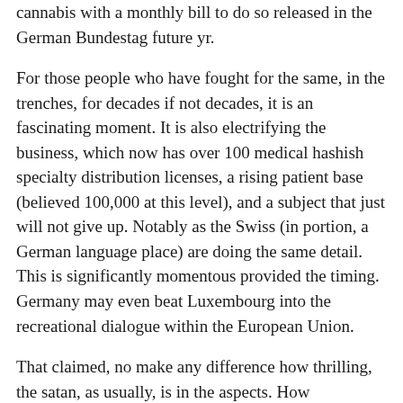cannabis with a monthly bill to do so released in the German Bundestag future yr.
For those people who have fought for the same, in the trenches, for decades if not decades, it is an fascinating moment. It is also electrifying the business, which now has over 100 medical hashish specialty distribution licenses, a rising patient base (believed 100,000 at this level), and a subject that just will not give up. Notably as the Swiss (in portion, a German language place) are doing the same detail. This is significantly momentous provided the timing. Germany may even beat Luxembourg into the recreational dialogue within the European Union.
That claimed, no make any difference how thrilling, the satan, as usually, is in the aspects. How significantly, what just, and how it will be applied is all continue to up in the air. Hashish is nonetheless not essentially decriminalized, and there are all kinds of